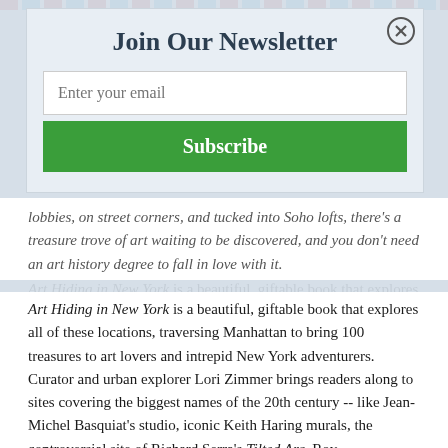[Figure (other): Newsletter signup modal overlay with striped border (red and blue diagonal stripes), title 'Join Our Newsletter', email input field, and green Subscribe button]
Join Our Newsletter
Enter your email
Subscribe
lobbies, on street corners, and tucked into Soho lofts, there's a treasure trove of art waiting to be discovered, and you don't need an art history degree to fall in love with it.
Art Hiding in New York is a beautiful, giftable book that explores all of these locations, traversing Manhattan to bring 100 treasures to art lovers and intrepid New York adventurers. Curator and urban explorer Lori Zimmer brings readers along to sites covering the biggest names of the 20th century -- like Jean-Michel Basquiat's studio, iconic Keith Haring murals, the controversial site of Richard Serra's Tilted Arc, Roy Lichtenstein's subway station commission, and many more. Each entry is accompanied by a beautiful watercolor depiction of the work by artist Maria Krasinski, as